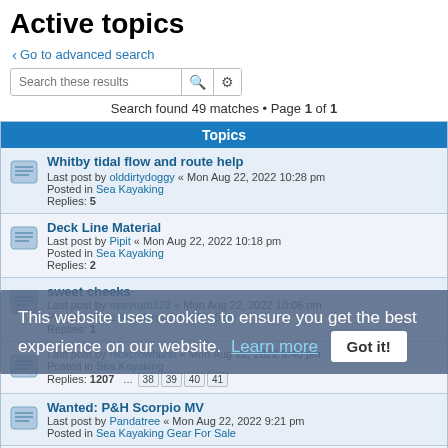Active topics
‹ Go to advanced search
Search these results
Search found 49 matches • Page 1 of 1
| Topics |
| --- |
| Whitby tidal flow and route help | Last post by olddirtydoggy « Mon Aug 22, 2022 10:28 pm | Posted in Sea Kayaking | Replies: 5 |
| Deck Line Material | Last post by Pipit « Mon Aug 22, 2022 10:18 pm | Posted in Sea Kayaking | Replies: 2 |
| sweet cheeks | Last post by maryruth123 « Mon Aug 22, 2022 10:06 pm | Posted in Sea Kayaking Gear For Sale | Replies: 1 |
| [topic partially obscured] | Last post by nickcrowhurst « Mon Aug 22, 2022 9:40 pm | Posted in Sea Kayaking | Replies: 1207 |
| Wanted: P&H Scorpio MV | Last post by Pandatree « Mon Aug 22, 2022 9:21 pm | Posted in Sea Kayaking Gear For Sale |  |
| Puffin Dive Centre Oban Parking | Last post by Owen « Mon Aug 22, 2022 5:58 pm | Posted in Sea Kayaking |  |
This website uses cookies to ensure you get the best experience on our website. Learn more Got it!